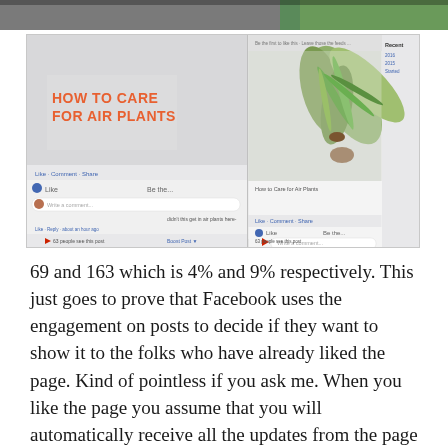[Figure (screenshot): Screenshot of two Facebook posts about 'How to Care for Air Plants'. Left side shows a Facebook post with comment section and '63 people see this post' with 'Boost Post' button. Right side shows the same post in a different view with an air plant photo and similar comment/boost section. Red arrows point to the reach numbers.]
69 and 163 which is 4% and 9% respectively. This just goes to prove that Facebook uses the engagement on posts to decide if they want to show it to the folks who have already liked the page. Kind of pointless if you ask me. When you like the page you assume that you will automatically receive all the updates from the page but it looks like that is not the case. So what can you do to make sure that you get updates from